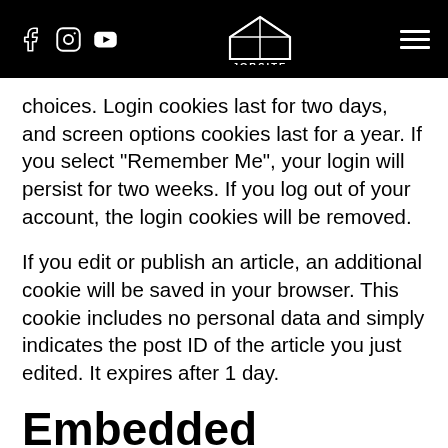JOBSITE
choices. Login cookies last for two days, and screen options cookies last for a year. If you select “Remember Me”, your login will persist for two weeks. If you log out of your account, the login cookies will be removed.
If you edit or publish an article, an additional cookie will be saved in your browser. This cookie includes no personal data and simply indicates the post ID of the article you just edited. It expires after 1 day.
Embedded content from